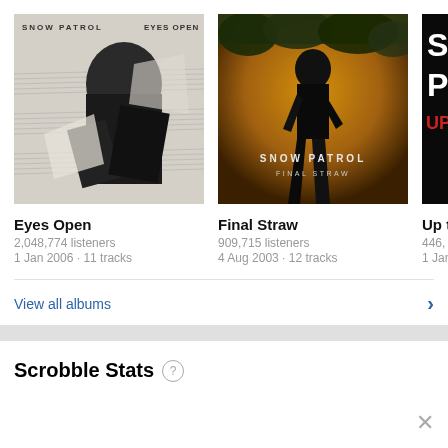[Figure (photo): Snow Patrol Eyes Open album cover - collage of figures with sheet music background, text SNOW PATROL EYES OPEN]
[Figure (photo): Snow Patrol Final Straw album cover - silhouette of person on golden/orange background, text SNOW PATROL FINAL STRAW]
[Figure (photo): Snow Patrol Up To Now album cover partially visible - black background with white/red text SP UP]
Eyes Open
2,048,774 listeners
1 Jan 2006 · 11 tracks
Final Straw
909,715 listeners
4 Aug 2003 · 12 tracks
Up t
446,
1 Jan
View all albums
Scrobble Stats